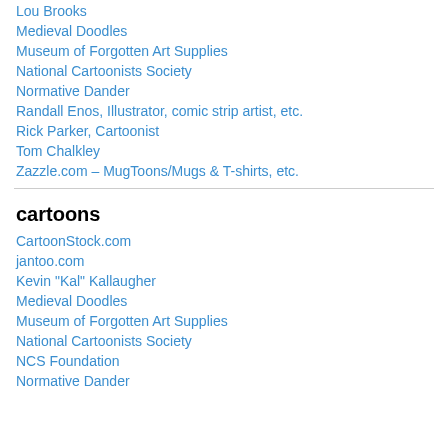Lou Brooks
Medieval Doodles
Museum of Forgotten Art Supplies
National Cartoonists Society
Normative Dander
Randall Enos, Illustrator, comic strip artist, etc.
Rick Parker, Cartoonist
Tom Chalkley
Zazzle.com – MugToons/Mugs & T-shirts, etc.
cartoons
CartoonStock.com
jantoo.com
Kevin "Kal" Kallaugher
Medieval Doodles
Museum of Forgotten Art Supplies
National Cartoonists Society
NCS Foundation
Normative Dander